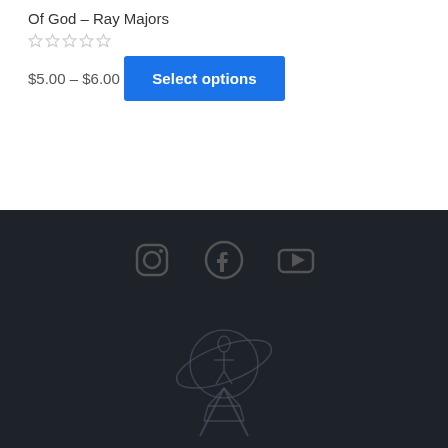Of God – Ray Majors
$5.00 – $6.00
Select options
[Figure (logo): Holy Ghost Radio logo with radio tower and globe, social media icons (Instagram, Facebook, YouTube), and text HOLY GHOST RADIO]